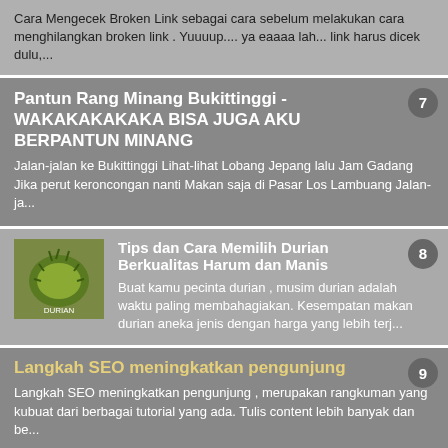Cara Mengecek Broken Link sebagai cara sebelum melakukan cara menghilangkan broken link . Yuuuup.... ya eaaaa lah... link harus dicek dulu,...
Pantun Rang Minang Bukittinggi - WAKAKAKAKAKA BISA JUGA AKU BERPANTUN MINANG
Jalan-jalan ke Bukittinggi Lihat-lihat Lobang Jepang lalu Jam Gadang Jika perut keroncongan nanti Makan saja di Pasar Los Lambuang Jalan-ja...
Tips dan Cara Memilih Durian Berkualitas Harum dan Manis
Buat kamu pecinta durian , musim durian adalah waktu paling membahagiakan. Kesempatan makan durian aneka jenis dengan harga yang lebih terj...
Langkah SEO meningkatkan pengunjung
Langkah SEO meningkatkan pengunjung , merupakan rangkuman yang kubuat dari berbagai tutorial yang ada. Tulis content lebih banyak dan be...
Kain Tenun Songket Melayu
...ngket berasal dari kata "sungkit" ...nemerlukan proses &qu...